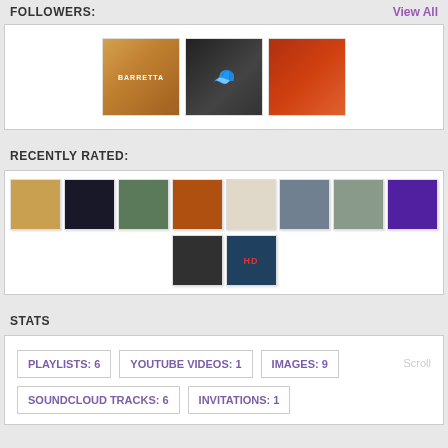FOLLOWERS:
[Figure (photo): Three follower profile thumbnails: BARRETTA text image, person with hat, colorful image]
RECENTLY RATED:
[Figure (photo): Grid of 10 recently rated photo thumbnails in two rows]
STATS
PLAYLISTS: 6   YOUTUBE VIDEOS: 1   IMAGES: 9   SOUNDCLOUD TRACKS: 6   INVITATIONS: 1